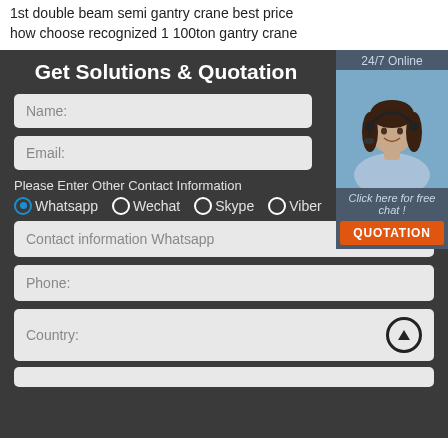1st double beam semi gantry crane best price how choose recognized 1 100ton gantry crane
Get Solutions & Quotation
[Figure (photo): Customer service representative with headset, 24/7 Online badge, Click here for free chat!, QUOTATION button]
Name:
Email:
Please Enter Other Contact Information
Whatsapp  Wechat  Skype  Viber
Contact information Whatsapp
Phone:
Country: